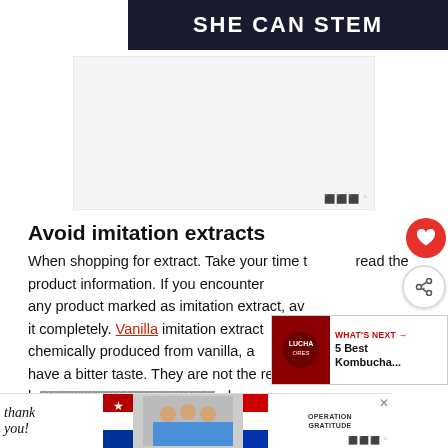SHE CAN STEM
[Figure (other): Advertisement placeholder box]
Avoid imitation extracts
When shopping for extract. Take your time to read the product information. If you encounter any product marked as imitation extract, avoid it completely. Vanilla imitation extract is chemically produced from vanilla, and have a bitter taste. They are not the real thing b... and su...
[Figure (other): What's Next widget showing 5 Best Kombucha...]
[Figure (other): Bottom advertisement - Operation Gratitude thank you banner]